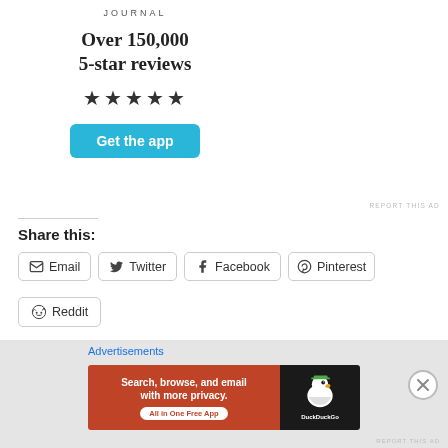[Figure (photo): Person sitting on rocks from behind, holding a phone, sunset/landscape background]
JOURNAL
Over 150,000 5-star reviews
★★★★★
Get the app
REPORT THIS AD
Share this:
Email
Twitter
Facebook
Pinterest
Reddit
Loading...
Advertisements
[Figure (screenshot): DuckDuckGo advertisement banner: Search, browse, and email with more privacy. All in One Free App]
REPORT THIS AD